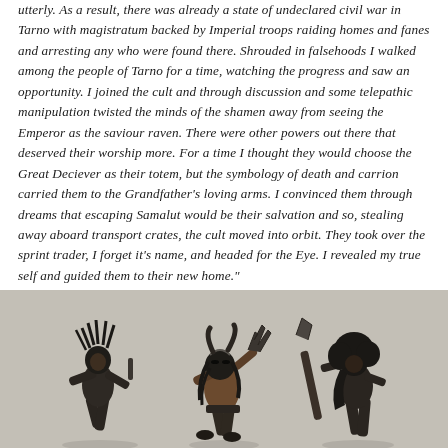utterly. As a result, there was already a state of undeclared civil war in Tarno with magistratum backed by Imperial troops raiding homes and fanes and arresting any who were found there. Shrouded in falsehoods I walked among the people of Tarno for a time, watching the progress and saw an opportunity. I joined the cult and through discussion and some telepathic manipulation twisted the minds of the shamen away from seeing the Emperor as the saviour raven. There were other powers out there that deserved their worship more. For a time I thought they would choose the Great Deciever as their totem, but the symbology of death and carrion carried them to the Grandfather's loving arms. I convinced them through dreams that escaping Samalut would be their salvation and so, stealing away aboard transport crates, the cult moved into orbit. They took over the sprint trader, I forget it's name, and headed for the Eye. I revealed my true self and guided them to their new home."
[Figure (photo): Three dark fantasy miniature figures (possibly Warhammer or similar tabletop game miniatures) shown against a light grey background. The figures appear to be feral/chaotic warrior characters with dark armor, feathers/fur, and weapons.]